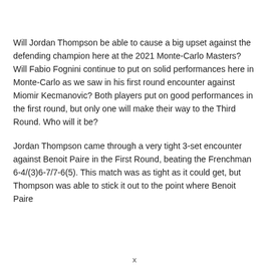Will Jordan Thompson be able to cause a big upset against the defending champion here at the 2021 Monte-Carlo Masters? Will Fabio Fognini continue to put on solid performances here in Monte-Carlo as we saw in his first round encounter against Miomir Kecmanovic? Both players put on good performances in the first round, but only one will make their way to the Third Round. Who will it be?
Jordan Thompson came through a very tight 3-set encounter against Benoit Paire in the First Round, beating the Frenchman 6-4/(3)6-7/7-6(5). This match was as tight as it could get, but Thompson was able to stick it out to the point where Benoit Paire
x